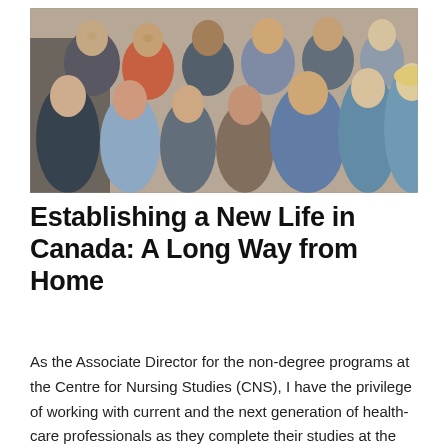[Figure (photo): Group photo of approximately 11 people, a mix of men and women of diverse ethnicities, smiling and posing together indoors. The group appears to be nursing students and/or staff.]
Establishing a New Life in Canada: A Long Way from Home
As the Associate Director for the non-degree programs at the Centre for Nursing Studies (CNS), I have the privilege of working with current and the next generation of health-care professionals as they complete their studies at the